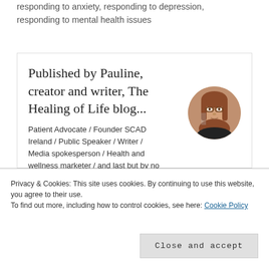responding to anxiety, responding to depression, responding to mental health issues
Published by Pauline, creator and writer, The Healing of Life blog...
Patient Advocate / Founder SCAD Ireland / Public Speaker / Writer / Media spokesperson / Health and wellness marketer / and last but by no
[Figure (photo): Circular portrait photo of a woman with reddish-brown hair and glasses, wearing a dark top]
Privacy & Cookies: This site uses cookies. By continuing to use this website, you agree to their use.
To find out more, including how to control cookies, see here: Cookie Policy
Close and accept